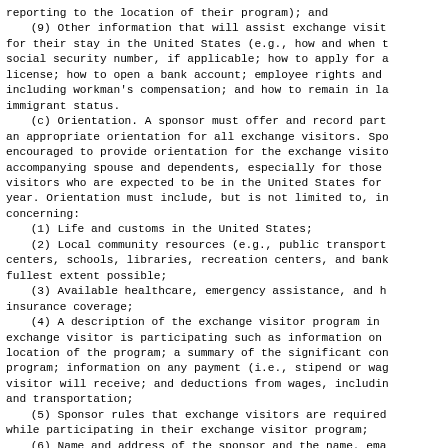reporting to the location of their program); and
(9) Other information that will assist exchange visitors for their stay in the United States (e.g., how and when to apply for a social security number, if applicable; how to apply for a driver's license; how to open a bank account; employee rights and benefits, including workman's compensation; and how to remain in lawful non-immigrant status.
(c) Orientation. A sponsor must offer and record participation in an appropriate orientation for all exchange visitors. Sponsors are encouraged to provide orientation for the exchange visitor's accompanying spouse and dependents, especially for those exchange visitors who are expected to be in the United States for more than one year. Orientation must include, but is not limited to, information concerning:
(1) Life and customs in the United States;
(2) Local community resources (e.g., public transportation centers, schools, libraries, recreation centers, and banks) to the fullest extent possible;
(3) Available healthcare, emergency assistance, and health insurance coverage;
(4) A description of the exchange visitor program in which the exchange visitor is participating such as information on the name and location of the program; a summary of the significant components of the program; information on any payment (i.e., stipend or wages) the visitor will receive; and deductions from wages, including housing and transportation;
(5) Sponsor rules that exchange visitors are required to follow while participating in their exchange visitor program;
(6) Name and address of the sponsor and the name, email address, and telephone number of the Responsible Officer and Alternate